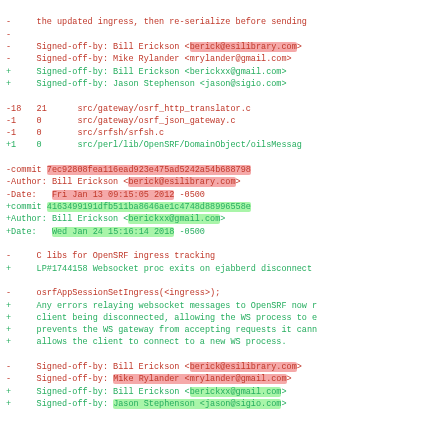git diff output showing commit metadata changes including signed-off-by lines, file stats, commit hashes, author, date, and commit messages
[Figure (screenshot): A git diff output in monospace font showing removed lines in red and added lines in green, including signed-off-by lines, file change stats, commit hashes highlighted in red/green backgrounds, author and date fields, and commit messages comparing two commits from 2012 and 2018.]